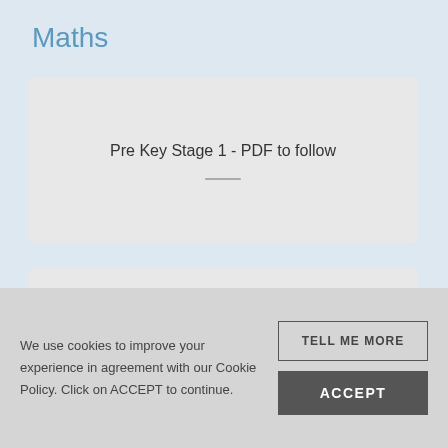Maths
Pre Key Stage 1 - PDF to follow
Maths Assessment Key Stage 1 and 2 - PDF to follow
We use cookies to improve your experience in agreement with our Cookie Policy. Click on ACCEPT to continue.